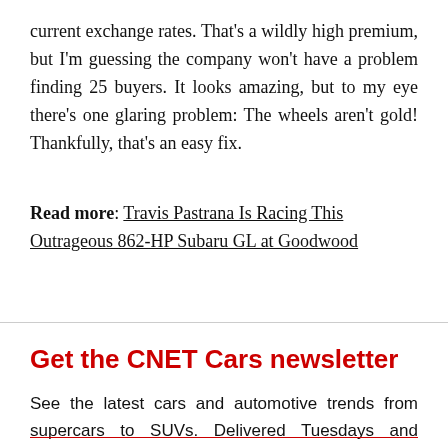current exchange rates. That's a wildly high premium, but I'm guessing the company won't have a problem finding 25 buyers. It looks amazing, but to my eye there's one glaring problem: The wheels aren't gold! Thankfully, that's an easy fix.
Read more: Travis Pastrana Is Racing This Outrageous 862-HP Subaru GL at Goodwood
Get the CNET Cars newsletter
See the latest cars and automotive trends from supercars to SUVs. Delivered Tuesdays and Thursdays.